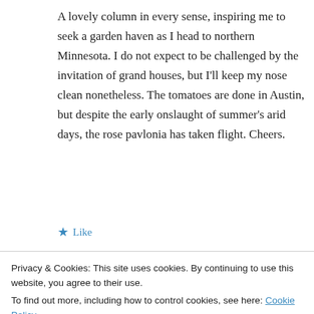A lovely column in every sense, inspiring me to seek a garden haven as I head to northern Minnesota. I do not expect to be challenged by the invitation of grand houses, but I'll keep my nose clean nonetheless. The tomatoes are done in Austin, but despite the early onslaught of summer's arid days, the rose pavlonia has taken flight. Cheers.
★ Like
↩ Reply
Privacy & Cookies: This site uses cookies. By continuing to use this website, you agree to their use.
To find out more, including how to control cookies, see here: Cookie Policy
Close and accept
any one of those delightful people who would like